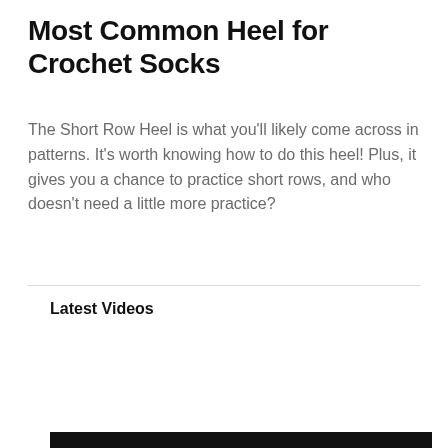Most Common Heel for Crochet Socks
The Short Row Heel is what you'll likely come across in patterns. It's worth knowing how to do this heel! Plus, it gives you a chance to practice short rows, and who doesn't need a little more practice?
Latest Videos
[Figure (screenshot): Video player area showing black background with 'Loading ad' text, followed by an advertisement banner for Hilton hotel with text 'It Matters Where You Stay', 'Hilton', 'Book Now' and an ad image of a woman on a beach chair, and a black video player section at the bottom with playback controls.]